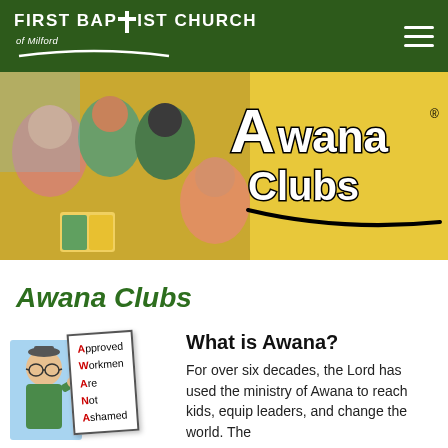First Baptist Church of Milford
[Figure (photo): Banner image showing children smiling around a book, with Awana Clubs logo on yellow background]
Awana Clubs
[Figure (illustration): Cartoon character holding sign reading Approved Workmen Are Not Ashamed (AWANA acronym)]
What is Awana?
For over six decades, the Lord has used the ministry of Awana to reach kids, equip leaders, and change the world. The